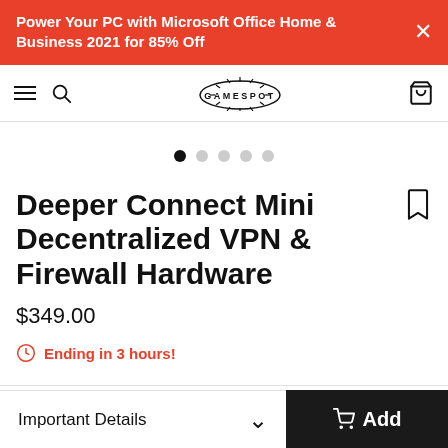Power Your PC with Microsoft Office Home & Business 2021 for 85% Off
[Figure (logo): GameSpot logo with navigation icons including hamburger menu, search, and cart]
[Figure (other): Image carousel with 5 dots, first dot active (black), others grey]
Deeper Connect Mini Decentralized VPN & Firewall Hardware
$349.00
Ending in 3 hours!
Important Details
Add